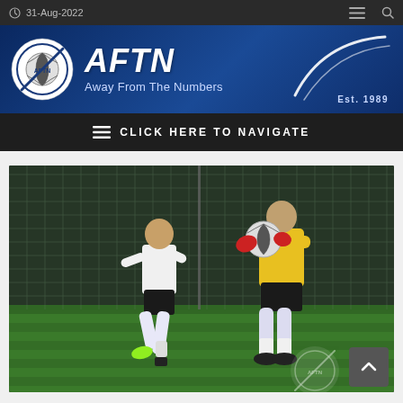31-Aug-2022
AFTN — Away From The Numbers — Est. 1989
≡ CLICK HERE TO NAVIGATE
[Figure (photo): Two soccer players on a floodlit artificial turf pitch at night. On the left, a player in a white shirt and black shorts runs with green boots. On the right, a goalkeeper in a yellow jersey and black shorts holds the ball with red gloves.]